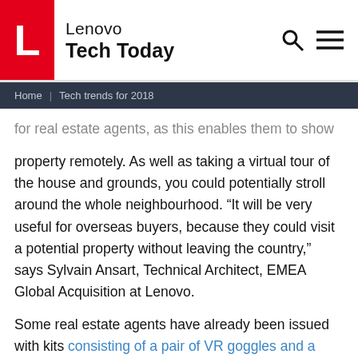Lenovo Tech Today
Home | Tech trends for 2018
for real estate agents, as this enables them to show property remotely. As well as taking a virtual tour of the house and grounds, you could potentially stroll around the whole neighbourhood. “It will be very useful for overseas buyers, because they could visit a potential property without leaving the country,” says Sylvain Ansart, Technical Architect, EMEA Global Acquisition at Lenovo.
Some real estate agents have already been issued with kits consisting of a pair of VR goggles and a 360-degree camera. However, right now it’s a proof-of-concept rather than for everyday use. But with prices coming down all the time, it could soon be as much a part of a real estate agent’s get-up as a shirt and tie.
AR and VR will also be used more extensively in industry